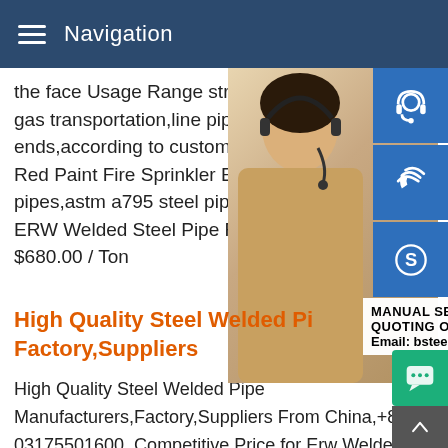Navigation
the face Usage Range structral pipe,oil or gas transportation,line pipe.packing PP,PE ends,according to customer requirementIn Red Paint Fire Sprinkler ERW Welded S in pipes,astm a795 steel pipes Suppliers and ERW Welded Steel Pipe For Fire Fighting $680.00 / Ton
[Figure (photo): Woman with headset customer service representative photo with blue icon buttons for headset, phone, and Skype on the right side]
High Quality Steel Welded Pipe Factory,Suppliers
High Quality Steel Welded Pipe Manufacturers,Factory,Suppliers From China,+86 03175501600. Competitive Price for Erw Welded Carbon Black S Special Price for Erw Schedule 40 Black Steel High definition Black Round Steel Pipe - SSAWHigh Quality Steel Welded Pipe Factory,Suppliers High Quality Steel Welded Pipe Manufacturers,Factory,Suppliers From China. Factory Custom